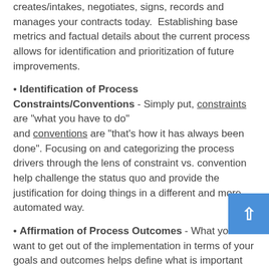creates/intakes, negotiates, signs, records and manages your contracts today.  Establishing base metrics and factual details about the current process allows for identification and prioritization of future improvements.
• Identification of Process Constraints/Conventions - Simply put, constraints are "what you have to do" and conventions are "that's how it has always been done". Focusing on and categorizing the process drivers through the lens of constraint vs. convention help challenge the status quo and provide the justification for doing things in a different and more automated way.
• Affirmation of Process Outcomes - What you want to get out of the implementation in terms of your goals and outcomes helps define what is important for us to focus and what should take priority.  Our approach is based on solving your problems and mitigating your process pain-points and to do that successfully, your input is crucial.